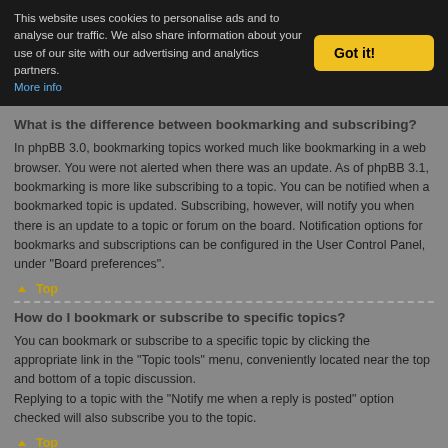This website uses cookies to personalise ads and to analyse our traffic. We also share information about your use of our site with our advertising and analytics partners. More info
Got it!
What is the difference between bookmarking and subscribing?
In phpBB 3.0, bookmarking topics worked much like bookmarking in a web browser. You were not alerted when there was an update. As of phpBB 3.1, bookmarking is more like subscribing to a topic. You can be notified when a bookmarked topic is updated. Subscribing, however, will notify you when there is an update to a topic or forum on the board. Notification options for bookmarks and subscriptions can be configured in the User Control Panel, under “Board preferences”.
Top
How do I bookmark or subscribe to specific topics?
You can bookmark or subscribe to a specific topic by clicking the appropriate link in the “Topic tools” menu, conveniently located near the top and bottom of a topic discussion.
Replying to a topic with the “Notify me when a reply is posted” option checked will also subscribe you to the topic.
Top